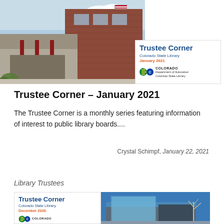[Figure (photo): Banner image showing a brick library building on the left and a Trustee Corner header box on the right with Colorado Department of Education Colorado State Library branding, January 2021]
Trustee Corner – January 2021
The Trustee Corner is a monthly series featuring information of interest to public library boards....
Crystal Schimpf, January 22, 2021
Library Trustees
[Figure (photo): Bottom card showing Trustee Corner Colorado State Library December 2020 branding on the left and a library building exterior photo on the right]